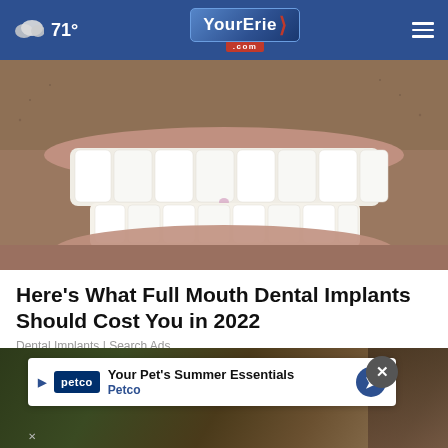71° YourErie.com
[Figure (photo): Close-up photo of a man's mouth showing full dental implants — white teeth with facial stubble visible]
Here's What Full Mouth Dental Implants Should Cost You in 2022
Dental Implants | Search Ads
[Figure (photo): Partially visible background photo with Petco advertisement overlay showing 'Your Pet's Summer Essentials' and Petco branding]